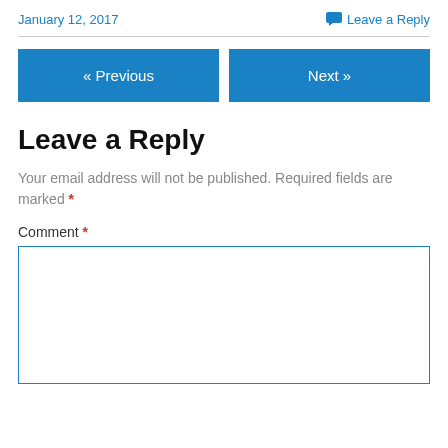January 12, 2017
Leave a Reply
« Previous
Next »
Leave a Reply
Your email address will not be published. Required fields are marked *
Comment *